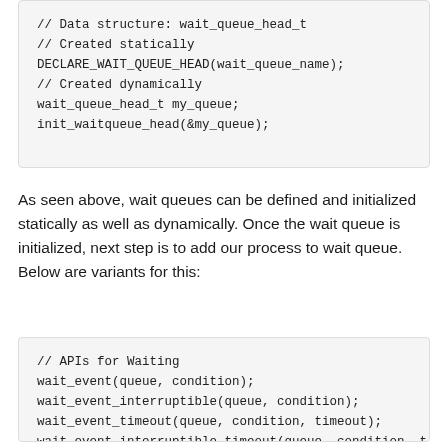[Figure (other): Code block showing wait queue data structure declarations: static and dynamic initialization]
As seen above, wait queues can be defined and initialized statically as well as dynamically. Once the wait queue is initialized, next step is to add our process to wait queue. Below are variants for this:
[Figure (other): Code block showing APIs for Waiting: wait_event, wait_event_interruptible, wait_event_timeout, wait_event_interruptible_timeout]